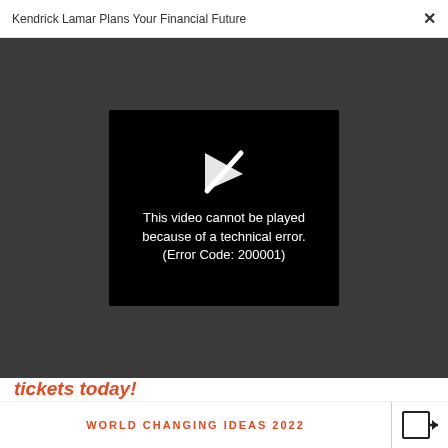Kendrick Lamar Plans Your Financial Future  ×
[Figure (screenshot): Video player error box on dark background showing a broken play icon and text: 'This video cannot be played because of a technical error. (Error Code: 200001)']
tickets today!
Today's Top Stories:
01
WORLD CHANGING IDEAS 2022